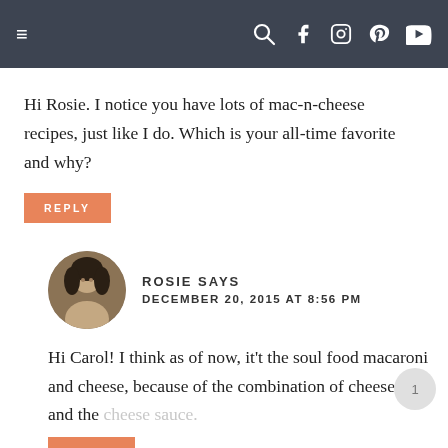Navigation bar with hamburger menu and social icons
Hi Rosie. I notice you have lots of mac-n-cheese recipes, just like I do. Which is your all-time favorite and why?
REPLY
ROSIE SAYS
DECEMBER 20, 2015 AT 8:56 PM
Hi Carol! I think as of now, it't the soul food macaroni and cheese, because of the combination of cheeses, and the cheese sauce.
REPLY